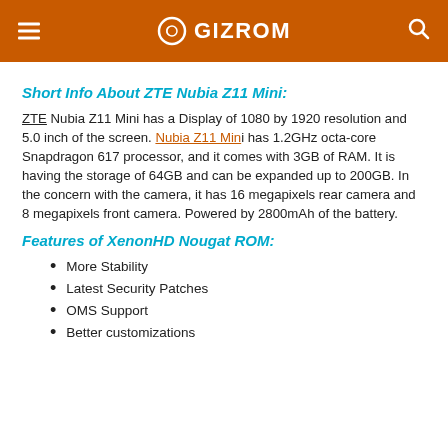GIZROM
Short Info About ZTE Nubia Z11 Mini:
ZTE Nubia Z11 Mini has a Display of 1080 by 1920 resolution and 5.0 inch of the screen. Nubia Z11 Mini has 1.2GHz octa-core Snapdragon 617 processor, and it comes with 3GB of RAM. It is having the storage of 64GB and can be expanded up to 200GB. In the concern with the camera, it has 16 megapixels rear camera and 8 megapixels front camera. Powered by 2800mAh of the battery.
Features of XenonHD Nougat ROM:
More Stability
Latest Security Patches
OMS Support
Better customizations